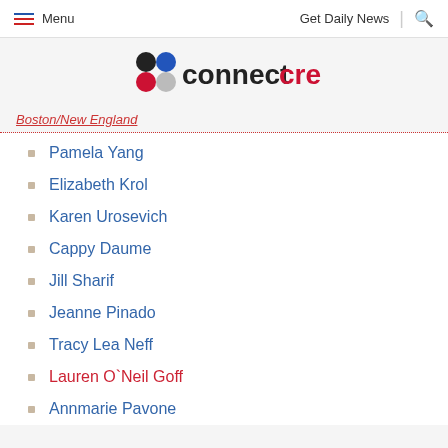Menu | Get Daily News
[Figure (logo): connectcre logo with colored circles]
Boston/New England
Pamela Yang
Elizabeth Krol
Karen Urosevich
Cappy Daume
Jill Sharif
Jeanne Pinado
Tracy Lea Neff
Lauren O`Neil Goff
Annmarie Pavone